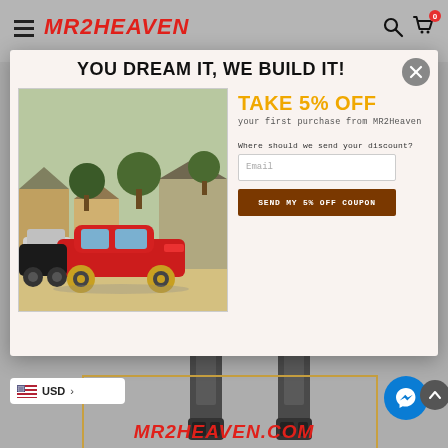MR2HEAVEN
[Figure (screenshot): MR2Heaven website screenshot showing a promotional popup modal with a red Toyota MR2 car image, '5% off' offer, email input, send coupon button, and product images of shock absorbers in the background]
YOU DREAM IT, WE BUILD IT!
TAKE 5% OFF
your first purchase from MR2Heaven
Where should we send your discount?
Email
SEND MY 5% OFF COUPON
MR2HEAVEN.COM
USD >